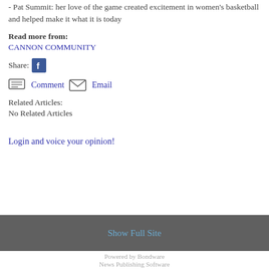- Pat Summit: her love of the game created excitement in women's basketball and helped make it what it is today
Read more from:
CANNON COMMUNITY
Share:
Comment  Email
Related Articles:
No Related Articles
Login and voice your opinion!
Show Full Site
Powered by Bondware
News Publishing Software